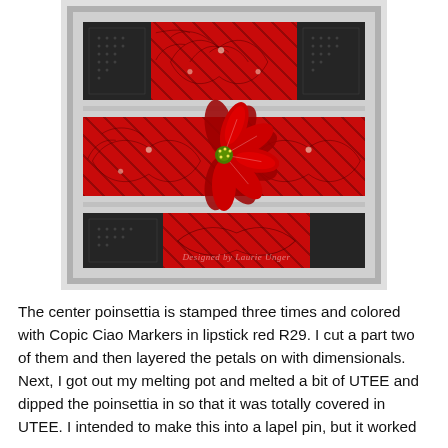[Figure (photo): A handmade Christmas card featuring a red poinsettia flower in the center, stamped background with red and dark charcoal/black panel sections in a grid layout. The card is propped up showing a 3D dimensional poinsettia. Watermark reads 'Designed by Laurie Unger'.]
The center poinsettia is stamped three times and colored with Copic Ciao Markers in lipstick red R29. I cut a part two of them and then layered the petals on with dimensionals. Next, I got out my melting pot and melted a bit of UTEE and dipped the poinsettia in so that it was totally covered in UTEE. I intended to make this into a lapel pin, but it worked